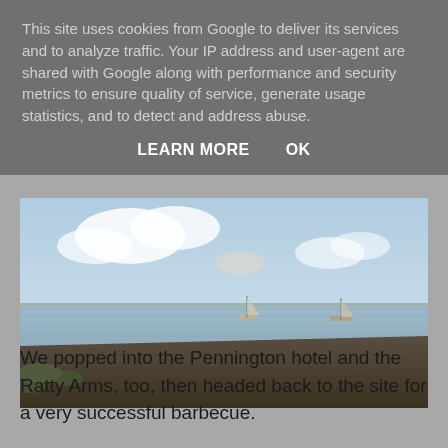This site uses cookies from Google to deliver its services and to analyze traffic. Your IP address and user-agent are shared with Google along with performance and security metrics to ensure quality of service, generate usage statistics, and to detect and address abuse.
LEARN MORE    OK
[Figure (photo): Coastal or estuary scene at dusk with a sandy/muddy shoreline in the foreground, calm water in the middle, and two small sailboats moored on the water. Sky is pale blue with some clouds.]
We popped into the Pennington hotel and the Ratty Arms, too, then headed back to the site for a very successful barbecue.